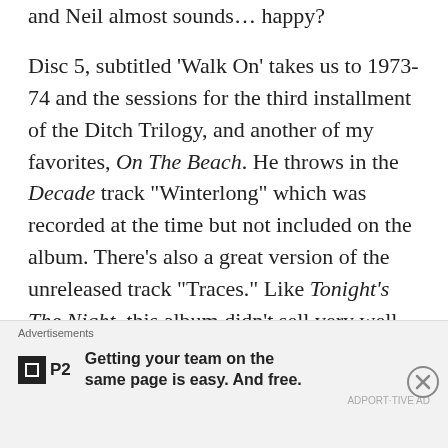and Neil almost sounds… happy?
Disc 5, subtitled 'Walk On' takes us to 1973-74 and the sessions for the third installment of the Ditch Trilogy, and another of my favorites, On The Beach. He throws in the Decade track "Winterlong" which was recorded at the time but not included on the album. There's also a great version of the unreleased track "Traces." Like Tonight's The Night, this album didn't sell very well so it makes sense that he'd include most the tracks from the album with this box. There's always been this feeling that all truly brilliant art comes from pain. I
Advertisements
Getting your team on the same page is easy. And free.